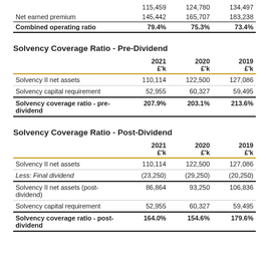|  | 2021 £'k | 2020 £'k | 2019 £'k |
| --- | --- | --- | --- |
|  | 115,459 | 124,780 | 134,497 |
| Net earned premium | 145,442 | 165,707 | 183,238 |
| Combined operating ratio | 79.4% | 75.3% | 73.4% |
Solvency Coverage Ratio - Pre-Dividend
|  | 2021 £'k | 2020 £'k | 2019 £'k |
| --- | --- | --- | --- |
| Solvency II net assets | 110,114 | 122,500 | 127,086 |
| Solvency capital requirement | 52,955 | 60,327 | 59,495 |
| Solvency coverage ratio - pre-dividend | 207.9% | 203.1% | 213.6% |
Solvency Coverage Ratio - Post-Dividend
|  | 2021 £'k | 2020 £'k | 2019 £'k |
| --- | --- | --- | --- |
| Solvency II net assets | 110,114 | 122,500 | 127,086 |
| Less: Final dividend | (23,250) | (29,250) | (20,250) |
| Solvency II net assets (post-dividend) | 86,864 | 93,250 | 106,836 |
| Solvency capital requirement | 52,955 | 60,327 | 59,495 |
| Solvency coverage ratio - post-dividend | 164.0% | 154.6% | 179.6% |